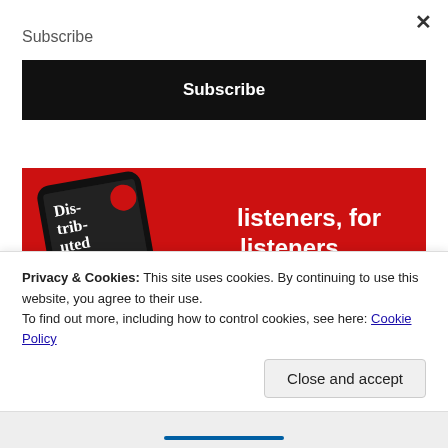Subscribe
Subscribe
[Figure (screenshot): Advertisement banner with red background showing a smartphone displaying 'Dis-trib-uted' podcast app, with text 'listeners, for listeners.' and a 'Download now' button on the right side.]
Privacy & Cookies: This site uses cookies. By continuing to use this website, you agree to their use.
To find out more, including how to control cookies, see here: Cookie Policy
Close and accept